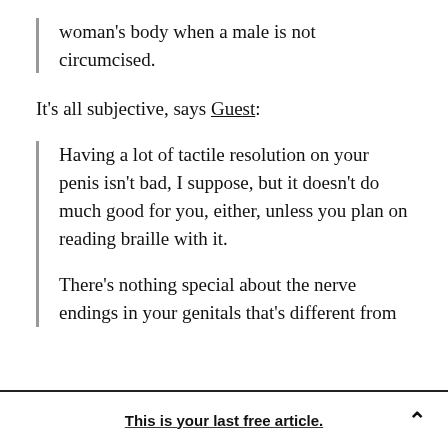woman's body when a male is not circumcised.
It's all subjective, says Guest:
Having a lot of tactile resolution on your penis isn't bad, I suppose, but it doesn't do much good for you, either, unless you plan on reading braille with it.
There's nothing special about the nerve endings in your genitals that's different from
This is your last free article.